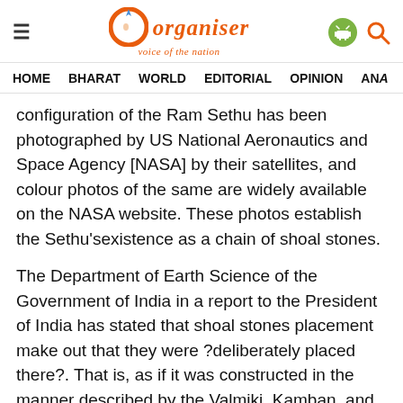Organiser — voice of the nation
HOME  BHARAT  WORLD  EDITORIAL  OPINION  ANA
configuration of the Ram Sethu has been photographed by US National Aeronautics and Space Agency [NASA] by their satellites, and colour photos of the same are widely available on the NASA website. These photos establish the Sethu'sexistence as a chain of shoal stones.
The Department of Earth Science of the Government of India in a report to the President of India has stated that shoal stones placement make out that they were ?deliberately placed there?. That is, as if it was constructed in the manner described by the Valmiki, Kamban, and Tulsidas, saints who